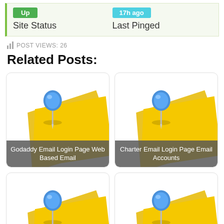[Figure (infographic): Site status widget showing green 'Up' badge and teal '17h ago' badge with labels 'Site Status' and 'Last Pinged']
POST VIEWS: 26
Related Posts:
[Figure (illustration): Blue pushpin pinned into a yellow sticky note]
Godaddy Email Login Page Web Based Email
[Figure (illustration): Blue pushpin pinned into a yellow sticky note]
Charter Email Login Page Email Accounts
[Figure (illustration): Blue pushpin pinned into a yellow sticky note]
Bellsouth Email Login Page Web
[Figure (illustration): Blue pushpin pinned into a yellow sticky note]
Godaddy Email Login